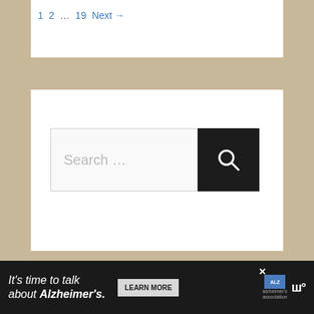1  2  …  19  Next →
[Figure (screenshot): Search box with placeholder text 'Search …' and a black search button with magnifying glass icon]
Recent Posts
[Figure (photo): Thumbnail image with text 'Bard Cantrip' on parchment background]
The 8 Best Cantrips in DnD 5e for the Bard Class
[Figure (photo): Dark blue thumbnail image for Wild Magic Guide post]
Ultimate Wild Magic Guide 5e: New
It's time to talk about Alzheimer's.
LEARN MORE